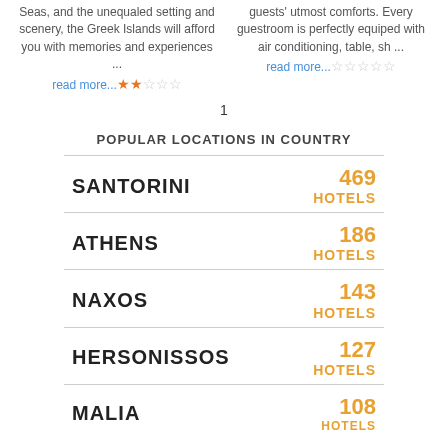Seas, and the unequaled setting and scenery, the Greek Islands will afford you with memories and experiences ... read more... ★★☆☆☆
guests' utmost comforts. Every guestroom is perfectly equiped with air conditioning, table, sh ... read more... ☆☆☆☆☆
1
POPULAR LOCATIONS IN COUNTRY
SANTORINI 469 HOTELS
ATHENS 186 HOTELS
NAXOS 143 HOTELS
HERSONISSOS 127 HOTELS
MALIA 108 HOTELS